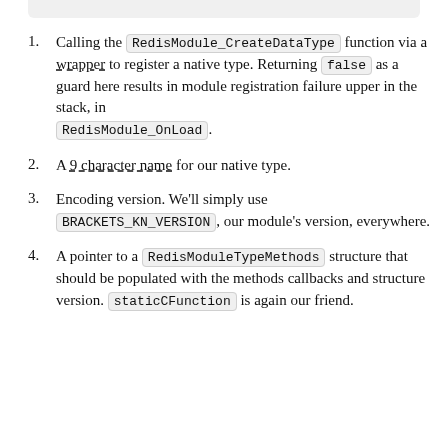Calling the RedisModule_CreateDataType function via a wrapper to register a native type. Returning false as a guard here results in module registration failure upper in the stack, in RedisModule_OnLoad.
A 9 character name for our native type.
Encoding version. We'll simply use BRACKETS_KN_VERSION, our module's version, everywhere.
A pointer to a RedisModuleTypeMethods structure that should be populated with the methods callbacks and structure version. staticCFunction is again our friend.